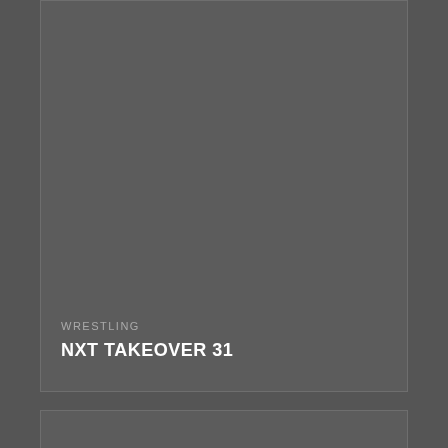[Figure (screenshot): Card 1 - NXT Takeover 31 wrestling event listing with dark gray background]
WRESTLING
NXT TAKEOVER 31
[Figure (screenshot): Card 2 - Royal Rumble 2019 wrestling event listing with dark gray background and comment badge showing 0]
WRESTLING
ROYAL RUMBLE 2019